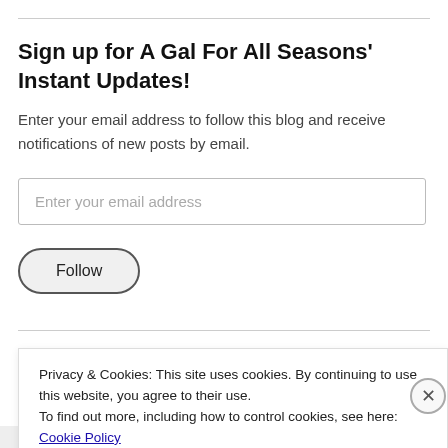Sign up for A Gal For All Seasons' Instant Updates!
Enter your email address to follow this blog and receive notifications of new posts by email.
Enter your email address
Follow
Blogroll
Privacy & Cookies: This site uses cookies. By continuing to use this website, you agree to their use.
To find out more, including how to control cookies, see here: Cookie Policy
Close and accept